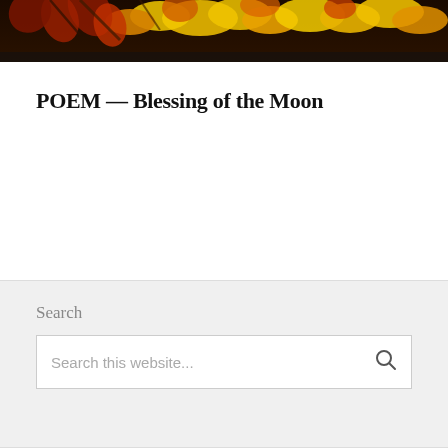[Figure (photo): Header photo of autumn/fall leaves in warm red, yellow, and orange tones with a dark background]
POEM — Blessing of the Moon
[Figure (other): Right-arrow navigation button in a circle]
Search
Search this website...